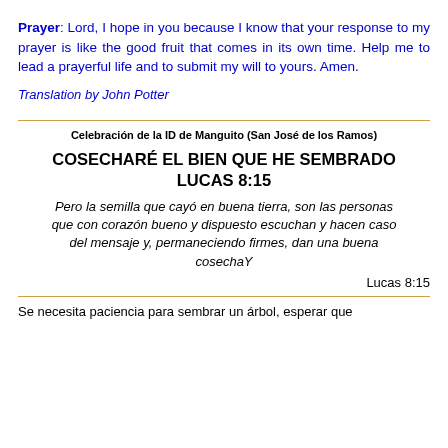Prayer: Lord, I hope in you because I know that your response to my prayer is like the good fruit that comes in its own time. Help me to lead a prayerful life and to submit my will to yours. Amen.
Translation by John Potter
Celebración de la ID de Manguito (San José de los Ramos)
COSECHARÉ EL BIEN QUE HE SEMBRADO LUCAS 8:15
Pero la semilla que cayó en buena tierra, son las personas que con corazón bueno y dispuesto escuchan y hacen caso del mensaje y, permaneciendo firmes, dan una buena cosechaY
Lucas 8:15
Se necesita paciencia para sembrar un árbol, esperar que